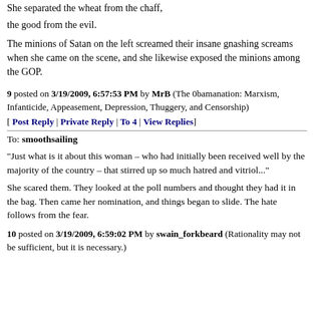She separated the wheat from the chaff,
the good from the evil.
The minions of Satan on the left screamed their insane gnashing screams when she came on the scene, and she likewise exposed the minions among the GOP.
9 posted on 3/19/2009, 6:57:53 PM by MrB (The 0bamanation: Marxism, Infanticide, Appeasement, Depression, Thuggery, and Censorship)
[ Post Reply | Private Reply | To 4 | View Replies]
To: smoothsailing
“Just what is it about this woman – who had initially been received well by the majority of the country – that stirred up so much hatred and vitriol..."
She scared them. They looked at the poll numbers and thought they had it in the bag. Then came her nomination, and things began to slide. The hate follows from the fear.
10 posted on 3/19/2009, 6:59:02 PM by swain_forkbeard (Rationality may not be sufficient, but it is necessary.)